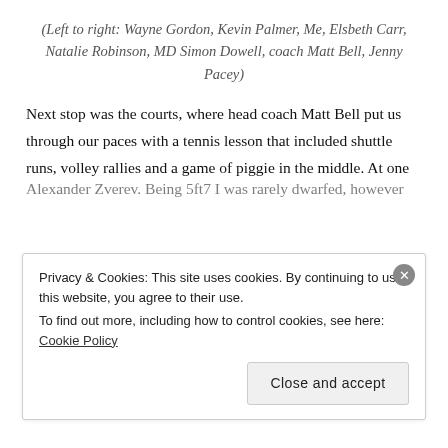(Left to right: Wayne Gordon, Kevin Palmer, Me, Elsbeth Carr, Natalie Robinson, MD Simon Dowell, coach Matt Bell, Jenny Pacey)
Next stop was the courts, where head coach Matt Bell put us through our paces with a tennis lesson that included shuttle runs, volley rallies and a game of piggie in the middle. At one point I looked up to admire the players on the courts next door, only to find it was 6ft4 Australian favourite Nick Kyrgios and 6ft6 20-year old German Alexander Zverev. Being 5ft7 I was rarely dwarfed, however
Privacy & Cookies: This site uses cookies. By continuing to use this website, you agree to their use.
To find out more, including how to control cookies, see here: Cookie Policy